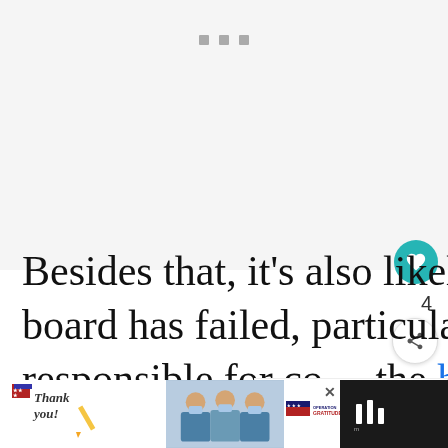[Figure (other): Gray placeholder area with three small gray dots/squares near the top center, representing an image loading placeholder]
Besides that, it's also likely that the control board has failed, particularly i… components responsible for co… the heating element.
[Figure (other): Advertisement banner showing 'Thank you!' with Operation Gratitude logo and people in masks]